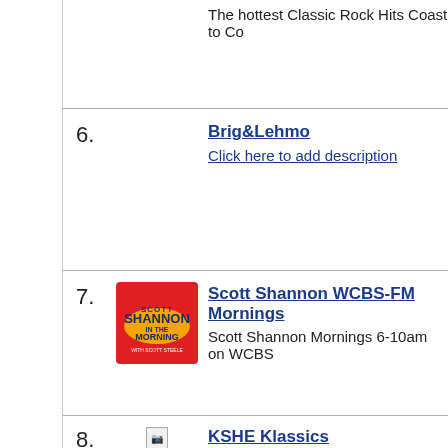The hottest Classic Rock Hits Coast to Co...
6. Brig&Lehmo — Click here to add description
7. Scott Shannon WCBS-FM Mornings — Scott Shannon Mornings 6-10am on WCBS...
8. KSHE Klassics